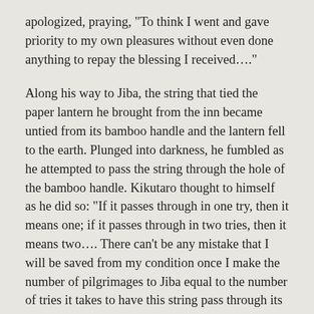apologized, praying, “To think I went and gave priority to my own pleasures without even done anything to repay the blessing I received….”
Along his way to Jiba, the string that tied the paper lantern he brought from the inn became untied from its bamboo handle and the lantern fell to the earth. Plunged into darkness, he fumbled as he attempted to pass the string through the hole of the bamboo handle. Kikutaro thought to himself as he did so: “If it passes through in one try, then it means one; if it passes through in two tries, then it means two…. There can’t be any mistake that I will be saved from my condition once I make the number of pilgrimages to Jiba equal to the number of tries it takes to have this string pass through its hole.”